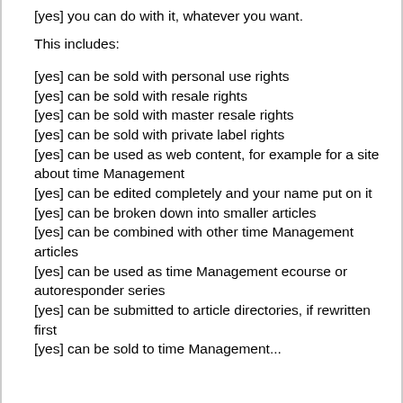[yes] you can do with it, whatever you want.
This includes:
[yes] can be sold with personal use rights
[yes] can be sold with resale rights
[yes] can be sold with master resale rights
[yes] can be sold with private label rights
[yes] can be used as web content, for example for a site about time Management
[yes] can be edited completely and your name put on it
[yes] can be broken down into smaller articles
[yes] can be combined with other time Management articles
[yes] can be used as time Management ecourse or autoresponder series
[yes] can be submitted to article directories, if rewritten first
[yes] can be sold to time Management...